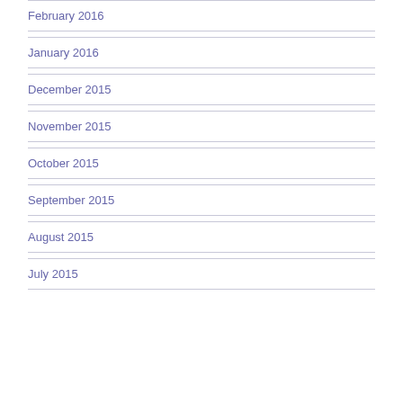February 2016
January 2016
December 2015
November 2015
October 2015
September 2015
August 2015
July 2015